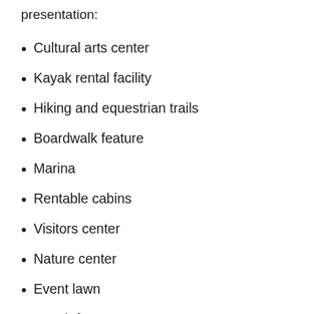presentation:
Cultural arts center
Kayak rental facility
Hiking and equestrian trails
Boardwalk feature
Marina
Rentable cabins
Visitors center
Nature center
Event lawn
Beach feature